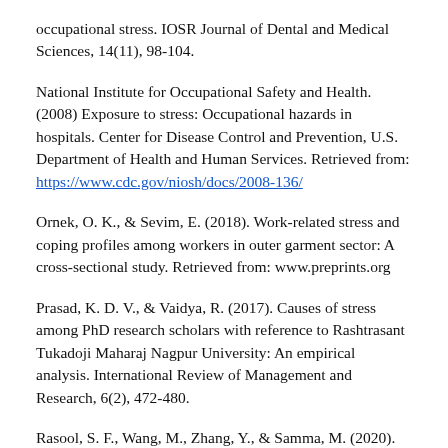occupational stress. IOSR Journal of Dental and Medical Sciences, 14(11), 98-104.
National Institute for Occupational Safety and Health. (2008) Exposure to stress: Occupational hazards in hospitals. Center for Disease Control and Prevention, U.S. Department of Health and Human Services. Retrieved from: https://www.cdc.gov/niosh/docs/2008-136/
Ornek, O. K., & Sevim, E. (2018). Work-related stress and coping profiles among workers in outer garment sector: A cross-sectional study. Retrieved from: www.preprints.org
Prasad, K. D. V., & Vaidya, R. (2017). Causes of stress among PhD research scholars with reference to Rashtrasant Tukadoji Maharaj Nagpur University: An empirical analysis. International Review of Management and Research, 6(2), 472-480.
Rasool, S. F., Wang, M., Zhang, Y., & Samma, M. (2020).